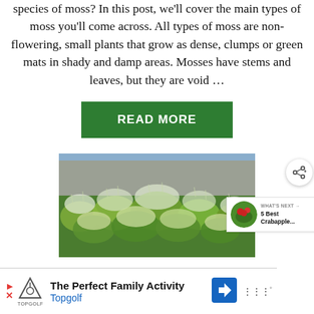species of moss? In this post, we'll cover the main types of moss you'll come across. All types of moss are non-flowering, small plants that grow as dense, clumps or green mats in shady and damp areas. Mosses have stems and leaves, but they are void …
READ MORE
[Figure (photo): Close-up photo of green and white fuzzy moss growing on a surface, with a blurred blue background]
WHAT'S NEXT → 5 Best Crabapple...
The Perfect Family Activity Topgolf